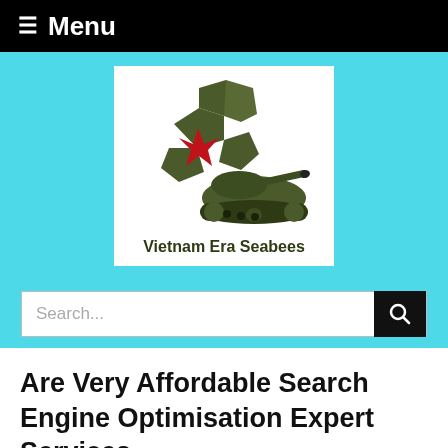≡ Menu
[Figure (logo): Vietnam Era Seabees logo: olive green pentagon flower shapes with a red star in the center, a military tank silhouette in dark olive green, and bold text 'Vietnam Era Seabees' below]
Search...
Are Very Affordable Search Engine Optimisation Expert Services